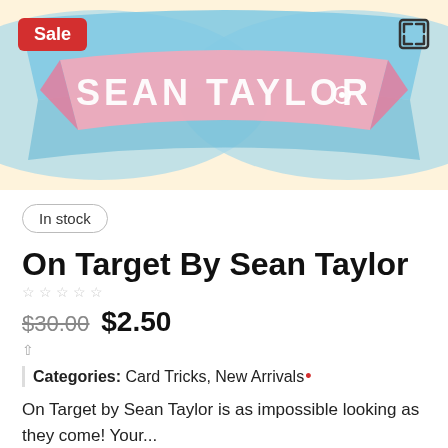[Figure (illustration): Colorful promotional banner with blue ribbon and pink banner reading 'SEAN TAYLOR' in white stylized text, on a warm cream background]
Sale
In stock
On Target By Sean Taylor
$30.00  $2.50
Categories: Card Tricks, New Arrivals
On Target by Sean Taylor is as impossible looking as they come! Your...
Quantity:
1